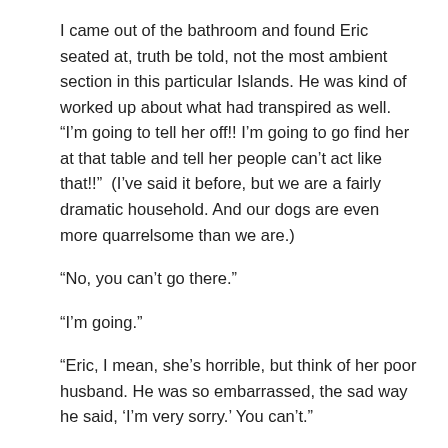I came out of the bathroom and found Eric seated at, truth be told, not the most ambient section in this particular Islands. He was kind of worked up about what had transpired as well. “I’m going to tell her off!! I’m going to go find her at that table and tell her people can’t act like that!!”  (I’ve said it before, but we are a fairly dramatic household. And our dogs are even more quarrelsome than we are.)
“No, you can’t go there.”
“I’m going.”
“Eric, I mean, she’s horrible, but think of her poor husband. He was so embarrassed, the sad way he said, ‘I’m very sorry.’ You can’t.”
And he didn’t. And we changed the subject, moved on to assessing and praising the movie we’d just seen. (15 minutes too long and a little manipulatively sad, but overall, we liked it.)
And while we praised LeBron James for his comedic chops